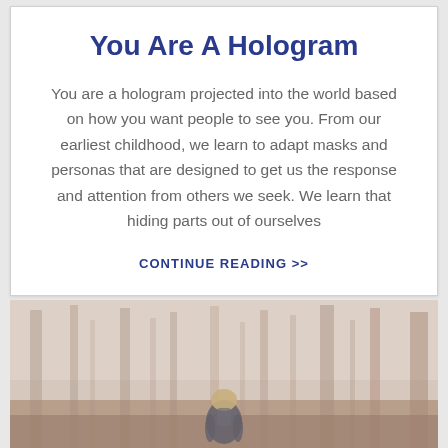You Are A Hologram
You are a hologram projected into the world based on how you want people to see you. From our earliest childhood, we learn to adapt masks and personas that are designed to get us the response and attention from others we seek. We learn that hiding parts out of ourselves
CONTINUE READING >>
[Figure (photo): Person seen from behind walking through a misty foggy forest with bare trees and fallen leaves on the ground]